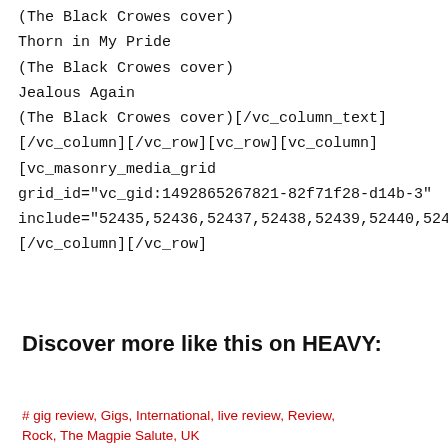(The Black Crowes cover)
Thorn in My Pride
(The Black Crowes cover)
Jealous Again
(The Black Crowes cover)[/vc_column_text]
[/vc_column][/vc_row][vc_row][vc_column]
[vc_masonry_media_grid
grid_id="vc_gid:1492865267821-82f71f28-d14b-3"
include="52435,52436,52437,52438,52439,52440,52441,
[/vc_column][/vc_row]
Discover more like this on HEAVY:
# gig review, Gigs, International, live review, Review, Rock, The Magpie Salute, UK